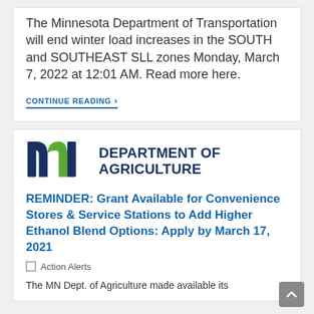The Minnesota Department of Transportation will end winter load increases in the SOUTH and SOUTHEAST SLL zones Monday, March 7, 2022 at 12:01 AM. Read more here.
CONTINUE READING ›
[Figure (logo): Minnesota Department of Agriculture logo — stylized 'mn' letters in navy blue and green, with 'DEPARTMENT OF AGRICULTURE' text in dark navy.]
REMINDER: Grant Available for Convenience Stores & Service Stations to Add Higher Ethanol Blend Options: Apply by March 17, 2021
Action Alerts
The MN Dept. of Agriculture made available its